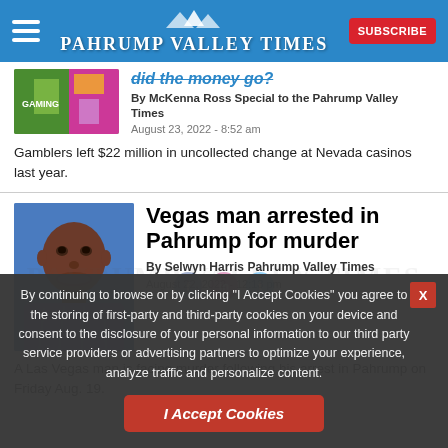Pahrump Valley Times
[Figure (photo): Partial article image showing colorful gaming/casino imagery with green and pink colors and the word GAMING visible]
did the money go?
By McKenna Ross Special to the Pahrump Valley Times
August 23, 2022 - 8:52 am
Gamblers left $22 million in uncollected change at Nevada casinos last year.
[Figure (photo): Mugshot photo of a Black man with grey stubble, wearing a blue patterned shirt, against a blue background]
Vegas man arrested in Pahrump for murder
By Selwyn Harris Pahrump Valley Times
August 22, 2022 - 12:13 pm
A Las Vegas man is facing murder following his arrest in Pahrump on Friday Aug. 19.
By continuing to browse or by clicking “I Accept Cookies” you agree to the storing of first-party and third-party cookies on your device and consent to the disclosure of your personal information to our third party service providers or advertising partners to optimize your experience, analyze traffic and personalize content.